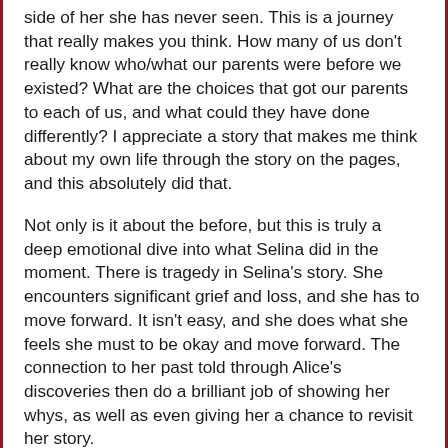side of her she has never seen. This is a journey that really makes you think. How many of us don't really know who/what our parents were before we existed? What are the choices that got our parents to each of us, and what could they have done differently? I appreciate a story that makes me think about my own life through the story on the pages, and this absolutely did that.
Not only is it about the before, but this is truly a deep emotional dive into what Selina did in the moment. There is tragedy in Selina's story. She encounters significant grief and loss, and she has to move forward. It isn't easy, and she does what she feels she must to be okay and move forward. The connection to her past told through Alice's discoveries then do a brilliant job of showing her whys, as well as even giving her a chance to revisit her story.
This is a book with an ending that is still heavy on my heart weeks after I read this book. It's one I'm still thinking about, and even as I type I find myself getting a bit teary thinking about how the story of these two women ended. It was one of those reveals when you find out all is not what it seemed